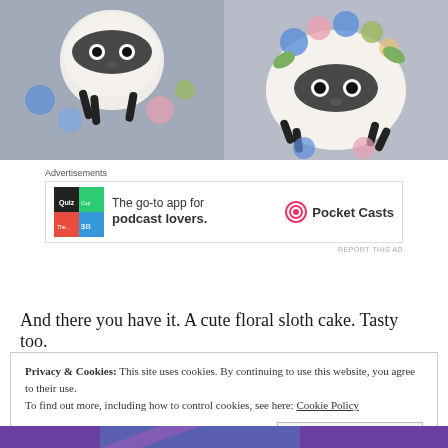[Figure (photo): Two sloth cake photos side by side — left: close-up of fondant sloth face with dark eyes and claws among blue and pink flowers; right: full sloth cake decorated with colorful floral butter cream flowers]
[Figure (other): Advertisement banner: Pocket Casts app — 'The go-to app for podcast lovers.' with Pocket Casts logo]
And there you have it. A cute floral sloth cake. Tasty too.
Privacy & Cookies: This site uses cookies. By continuing to use this website, you agree to their use.
To find out more, including how to control cookies, see here: Cookie Policy
[Figure (other): Bottom advertisement strip — purple/green gradient background]